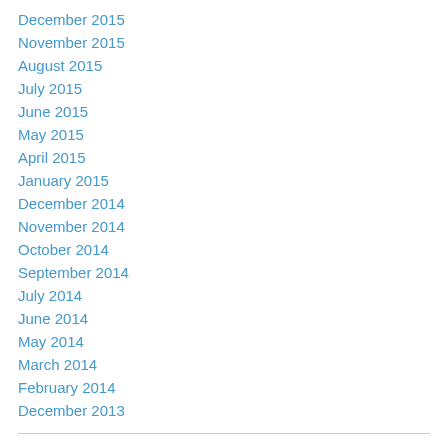December 2015
November 2015
August 2015
July 2015
June 2015
May 2015
April 2015
January 2015
December 2014
November 2014
October 2014
September 2014
July 2014
June 2014
May 2014
March 2014
February 2014
December 2013